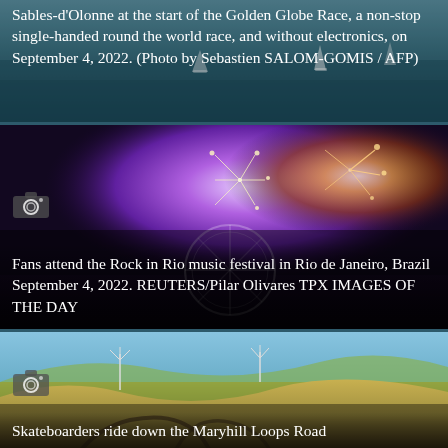[Figure (photo): Aerial view of sailboats at sea for the Golden Globe Race start at Sables-d'Olonne]
Sables-d'Olonne at the start of the Golden Globe Race, a non-stop single-handed round the world race, and without electronics, on September 4, 2022. (Photo by Sebastien SALOM-GOMIS / AFP)
[Figure (photo): Fireworks and crowd at Rock in Rio music festival in Rio de Janeiro, Brazil]
Fans attend the Rock in Rio music festival in Rio de Janeiro, Brazil September 4, 2022. REUTERS/Pilar Olivares TPX IMAGES OF THE DAY
[Figure (photo): Aerial landscape view of Maryhill Loops Road with rolling hills and wind turbines]
Skateboarders ride down the Maryhill Loops Road